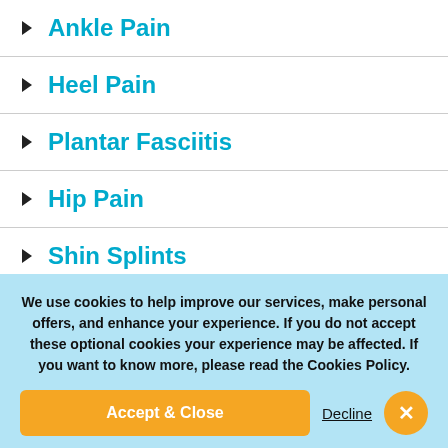Ankle Pain
Heel Pain
Plantar Fasciitis
Hip Pain
Shin Splints
Overpronation
We use cookies to help improve our services, make personal offers, and enhance your experience. If you do not accept these optional cookies your experience may be affected. If you want to know more, please read the Cookies Policy.
Accept & Close
Decline